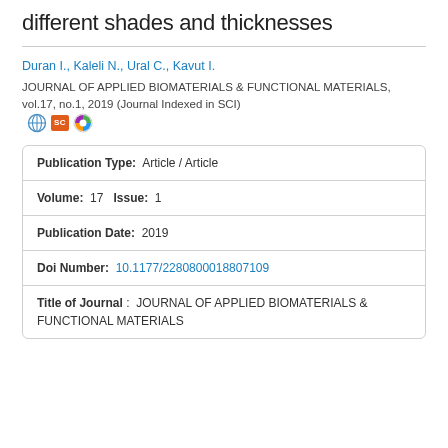different shades and thicknesses
Duran I., Kaleli N., Ural C., Kavut I.
JOURNAL OF APPLIED BIOMATERIALS & FUNCTIONAL MATERIALS, vol.17, no.1, 2019 (Journal Indexed in SCI)
| Publication Type: | Article / Article |
| Volume: 17   Issue: | 1 |
| Publication Date: | 2019 |
| Doi Number: | 10.1177/2280800018807109 |
| Title of Journal: | JOURNAL OF APPLIED BIOMATERIALS & FUNCTIONAL MATERIALS |